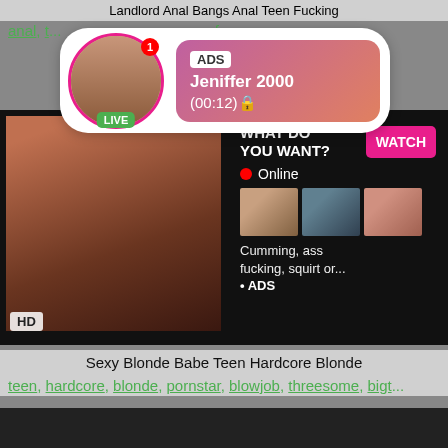Landlord Anal Bangs Anal Teen Fucking
anal, t... x, fe...
[Figure (screenshot): Ad popup overlay with live avatar of a woman, LIVE badge, ADS label, name Jeniffer 2000, time (00:12)]
[Figure (screenshot): Video thumbnail of woman, HD badge, min badge, and embedded ad panel with WHAT DO YOU WANT? text, WATCH button, Online indicator, three mini thumbnails, text Cumming, ass fucking, squirt or... ADS]
Sexy Blonde Babe Teen Hardcore Blonde
teen, hardcore, blonde, pornstar, blowjob, threesome, bigt...
[Figure (screenshot): Dark video thumbnail area at bottom of page]